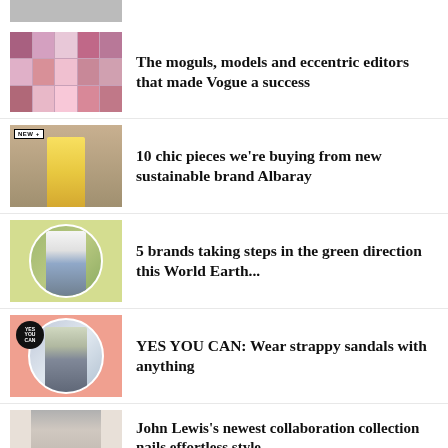[Figure (photo): Partially visible thumbnail at top of page]
[Figure (photo): Collage of Vogue magazine covers]
The moguls, models and eccentric editors that made Vogue a success
[Figure (photo): Fashion model in yellow floral dress with NEW+ badge]
10 chic pieces we're buying from new sustainable brand Albaray
[Figure (photo): Person standing on green background in circular crop]
5 brands taking steps in the green direction this World Earth...
[Figure (photo): Person with strappy sandals on pink background in circular crop with YES YOU CAN badge]
YES YOU CAN: Wear strappy sandals with anything
[Figure (photo): Person in light outfit, partial view at bottom]
John Lewis's newest collaboration collection nails effortless style